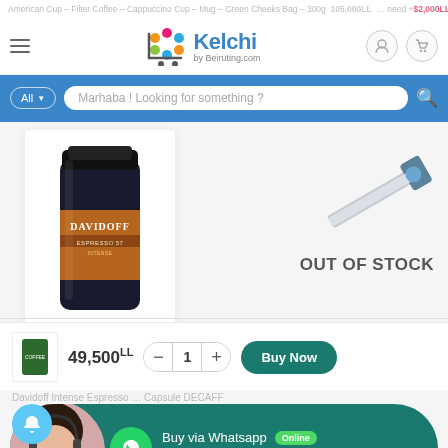American Cup – Filter Coffee – Cappuccino Cup – Mug – Green Cheeks Bag – 300g – 105,000LL ... need + $2,000LL
[Figure (logo): Kelchi by Beiruting.com logo with colorful dots]
Marhaba ! Looking for something ?
[Figure (photo): Davidoff Espresso Intense coffee jar product image]
OUT OF STOCK
49,500LL
Buy Now
Davidoff Intense Espresso ... Capsule DECAFF
[Figure (infographic): Buy via Whatsapp banner with agent photo, WhatsApp icon, Online badge, and Buy by Whatsapp text]